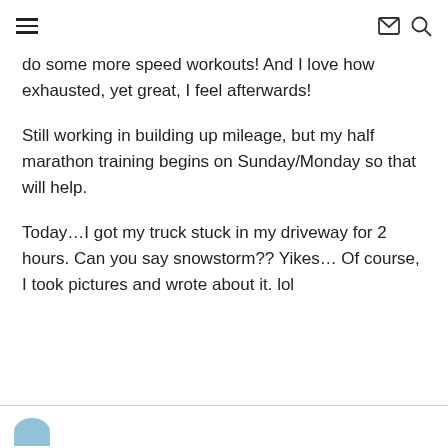[hamburger menu icon] [mail icon] [search icon]
do some more speed workouts! And I love how exhausted, yet great, I feel afterwards!
Still working in building up mileage, but my half marathon training begins on Sunday/Monday so that will help.
Today…I got my truck stuck in my driveway for 2 hours. Can you say snowstorm?? Yikes… Of course, I took pictures and wrote about it. lol